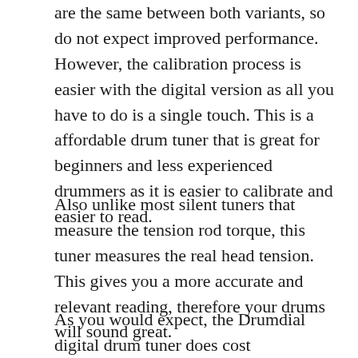are the same between both variants, so do not expect improved performance. However, the calibration process is easier with the digital version as all you have to do is a single touch. This is a affordable drum tuner that is great for beginners and less experienced drummers as it is easier to calibrate and easier to read.
Also unlike most silent tuners that measure the tension rod torque, this tuner measures the real head tension. This gives you a more accurate and relevant reading, therefore your drums will sound great.
As you would expect, the Drumdial digital drum tuner does cost significantly more than the original one. So, which one should you get? Well, that comes down to your personal preference